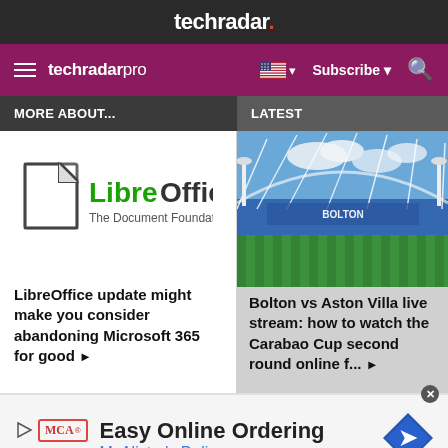techradar.
techradar pro  Subscribe
MORE ABOUT...
LATEST
[Figure (logo): LibreOffice logo with document icon and text 'LibreOffice The Document Foundation']
LibreOffice update might make you consider abandoning Microsoft 365 for good ▶
[Figure (photo): Football stadium photo - Bolton stadium with green pitch and blue seating]
Bolton vs Aston Villa live stream: how to watch the Carabao Cup second round online f... ▶
[Figure (infographic): Advertisement banner: Easy Online Ordering - McAlister's Deli, with MCA logo and navigation arrow icon]